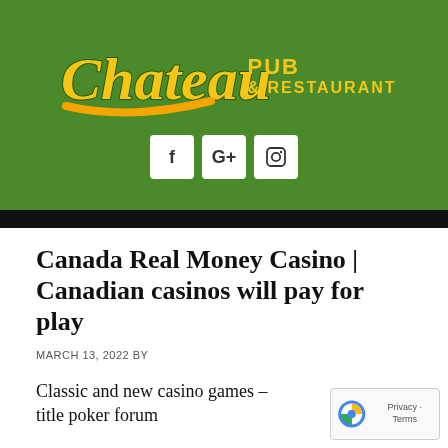[Figure (logo): Chateau Pub & Restaurant logo on green background with social media icons (Facebook, Google+, Instagram)]
Canada Real Money Casino | Canadian casinos will pay for play
MARCH 13, 2022 BY
Classic and new casino games – title poker forum